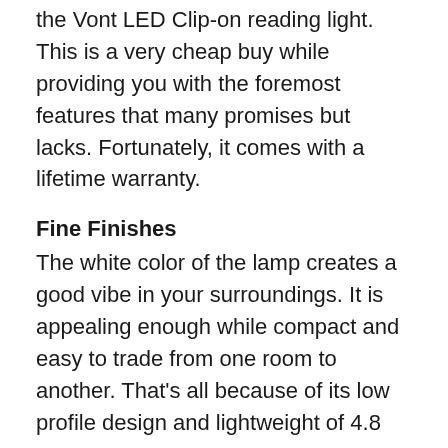the Vont LED Clip-on reading light. This is a very cheap buy while providing you with the foremost features that many promises but lacks. Fortunately, it comes with a lifetime warranty.
Fine Finishes
The white color of the lamp creates a good vibe in your surroundings. It is appealing enough while compact and easy to trade from one room to another. That’s all because of its low profile design and lightweight of 4.8 ounces.
Moving Neck
The neck on the Vont light is totally adjustable. You can rotate or swivel it 360 degrees and shower the light straight on your subject. That as a reader is a good feature as all we desire is good visibility.